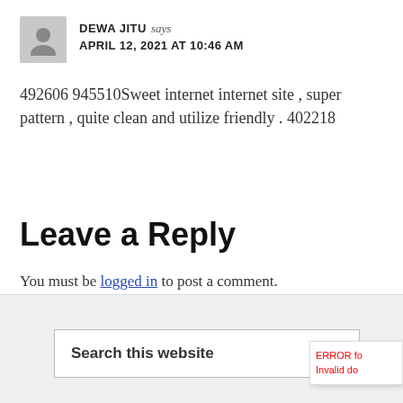DEWA JITU says
APRIL 12, 2021 AT 10:46 AM
492606 945510Sweet internet internet site , super pattern , quite clean and utilize friendly . 402218
Leave a Reply
You must be logged in to post a comment.
Search this website
ERROR fo
Invalid do